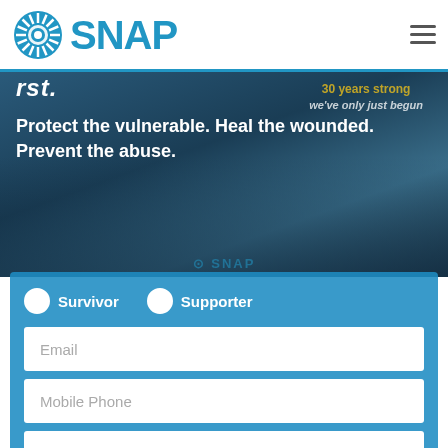SNAP
[Figure (photo): Background photo of crowd/event with SNAP banner reading '30 Years Strong' and 'we've only just begun']
rst.
Protect the vulnerable. Heal the wounded. Prevent the abuse.
Survivor   Supporter
Email
Mobile Phone
Postal Code
SHARE